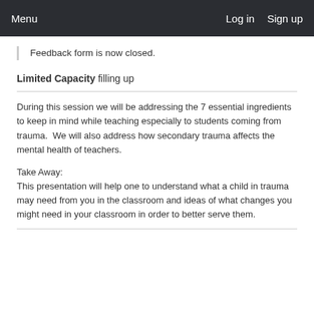Menu   Log in   Sign up
Feedback form is now closed.
Limited Capacity filling up
During this session we will be addressing the 7 essential ingredients to keep in mind while teaching especially to students coming from trauma.  We will also address how secondary trauma affects the mental health of teachers.
Take Away:
This presentation will help one to understand what a child in trauma may need from you in the classroom and ideas of what changes you might need in your classroom in order to better serve them.